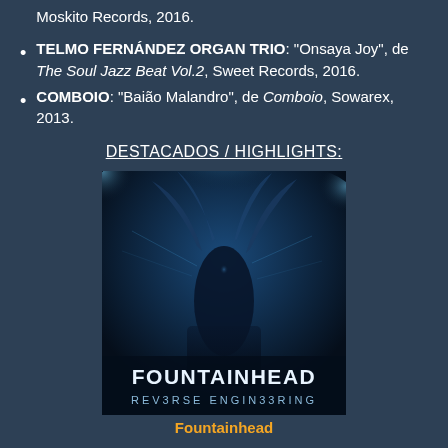Moskito Records, 2016.
TELMO FERNÁNDEZ ORGAN TRIO: "Onsaya Joy", de The Soul Jazz Beat Vol.2, Sweet Records, 2016.
COMBOIO: "Baião Malandro", de Comboio, Sowarex, 2013.
DESTACADOS / HIGHLIGHTS:
[Figure (photo): Album cover for Fountainhead - Reverse Engineering. Dark blue toned image of a person with flowing hair and digital/energy effects, with the text FOUNTAINHEAD and REVERSE ENGINEERING at the bottom.]
Fountainhead